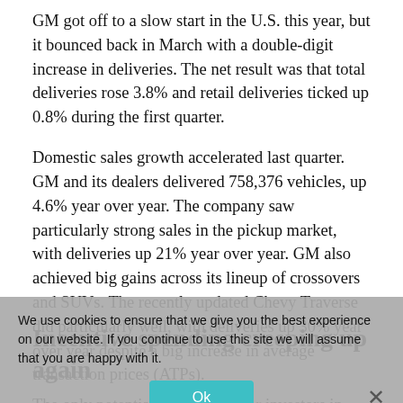GM got off to a slow start in the U.S. this year, but it bounced back in March with a double-digit increase in deliveries. The net result was that total deliveries rose 3.8% and retail deliveries ticked up 0.8% during the first quarter.
Domestic sales growth accelerated last quarter. GM and its dealers delivered 758,376 vehicles, up 4.6% year over year. The company saw particularly strong sales in the pickup market, with deliveries up 21% year over year. GM also achieved big gains across its lineup of crossovers and SUVs. The recently updated Chevy Traverse did particularly well, with deliveries up 30% year over year despite a big increase in average transaction prices (ATPs).
Incentive spending creeping up again
The only potential caution flag for investors in General
We use cookies to ensure that we give you the best experience on our website. If you continue to use this site we will assume that you are happy with it.